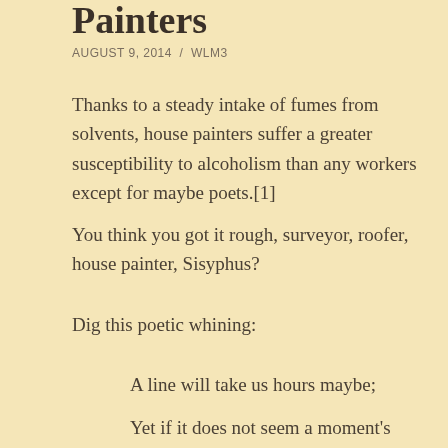Painters
AUGUST 9, 2014  /  WLM3
Thanks to a steady intake of fumes from solvents, house painters suffer a greater susceptibility to alcoholism than any workers except for maybe poets.[1]
You think you got it rough, surveyor, roofer, house painter, Sisyphus?
Dig this poetic whining:
A line will take us hours maybe;
Yet if it does not seem a moment's thought,